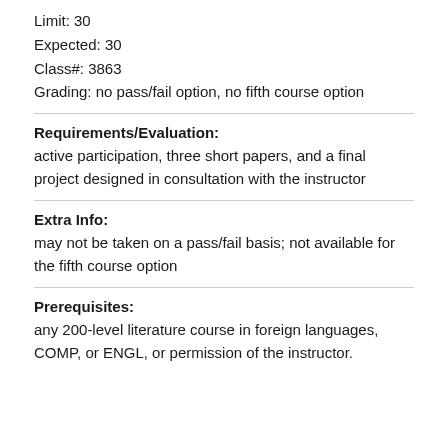Limit: 30
Expected: 30
Class#: 3863
Grading: no pass/fail option, no fifth course option
Requirements/Evaluation:
active participation, three short papers, and a final project designed in consultation with the instructor
Extra Info:
may not be taken on a pass/fail basis; not available for the fifth course option
Prerequisites:
any 200-level literature course in foreign languages, COMP, or ENGL, or permission of the instructor.